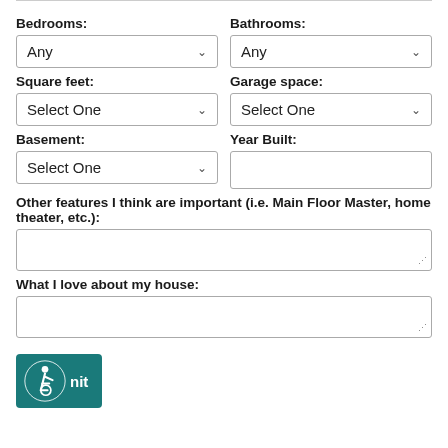Bedrooms:
Any (dropdown)
Bathrooms:
Any (dropdown)
Square feet:
Select One (dropdown)
Garage space:
Select One (dropdown)
Basement:
Select One (dropdown)
Year Built:
(text input)
Other features I think are important (i.e. Main Floor Master, home theater, etc.):
(textarea)
What I love about my house:
(textarea)
[Figure (logo): Wheelchair accessibility icon in teal circle with 'nit' text visible, part of a submit button]